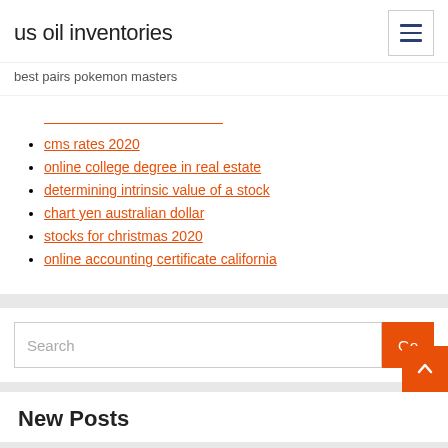us oil inventories
best pairs pokemon masters
(truncated link — orange underline)
cms rates 2020
online college degree in real estate
determining intrinsic value of a stock
chart yen australian dollar
stocks for christmas 2020
online accounting certificate california
Search
New Posts